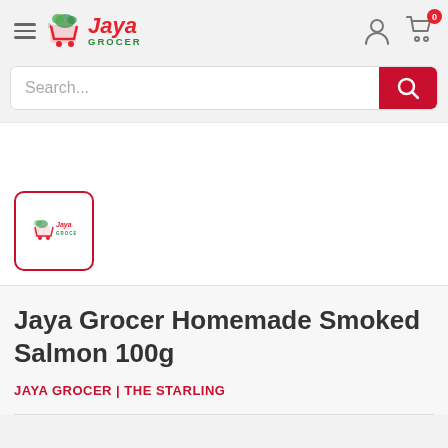[Figure (logo): Jaya Grocer logo with shopping cart icon, red 'Jaya' text and green 'GROCER' text]
[Figure (screenshot): Search bar with 'Search...' placeholder and red search button, plus user/cart icons in header]
[Figure (photo): Product thumbnail image showing Jaya Grocer logo placeholder, with red border]
Jaya Grocer Homemade Smoked Salmon 100g
JAYA GROCER | THE STARLING